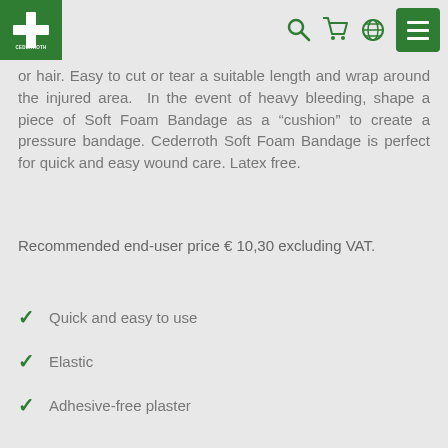CEDERROTH [logo with navigation icons]
or hair. Easy to cut or tear a suitable length and wrap around the injured area.  In the event of heavy bleeding, shape a piece of Soft Foam Bandage as a "cushion" to create a pressure bandage. Cederroth Soft Foam Bandage is perfect for quick and easy wound care. Latex free.
Recommended end-user price € 10,30 excluding VAT.
Quick and easy to use
Elastic
Adhesive-free plaster